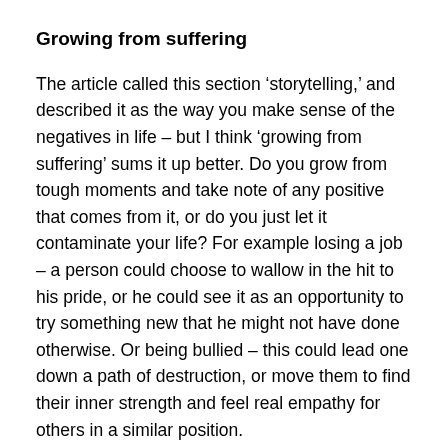Growing from suffering
The article called this section ‘storytelling,’ and described it as the way you make sense of the negatives in life – but I think ‘growing from suffering’ sums it up better. Do you grow from tough moments and take note of any positive that comes from it, or do you just let it contaminate your life? For example losing a job – a person could choose to wallow in the hit to his pride, or he could see it as an opportunity to try something new that he might not have done otherwise. Or being bullied – this could lead one down a path of destruction, or move them to find their inner strength and feel real empathy for others in a similar position.